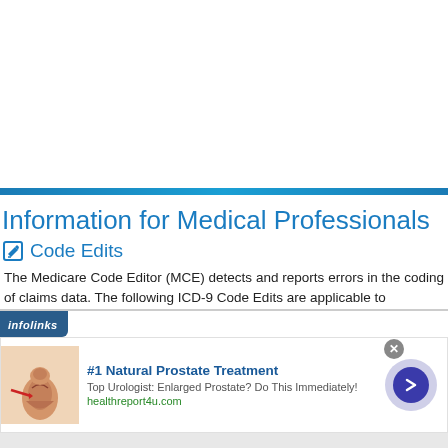Information for Medical Professionals
Code Edits
The Medicare Code Editor (MCE) detects and reports errors in the coding of claims data. The following ICD-9 Code Edits are applicable to
[Figure (other): Infolinks advertisement banner with prostate treatment ad. Shows anatomical illustration, text '#1 Natural Prostate Treatment', subtitle 'Top Urologist: Enlarged Prostate? Do This Immediately!', URL 'healthreport4u.com', and a blue arrow button.]